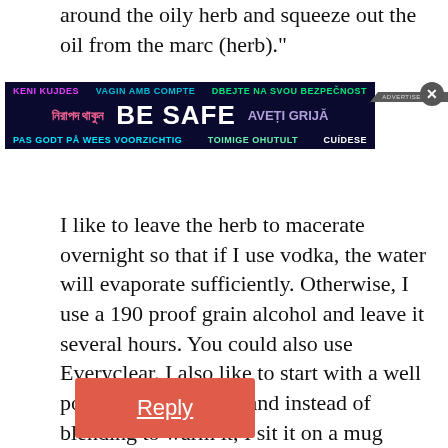around the oily herb and squeeze out the oil from the marc (herb)."
[Figure (infographic): Public safety advertisement banner in dark background with multilingual 'BE SAFE' messages in various languages including Bengali, multilingual text rows]
I like to leave the herb to macerate overnight so that if I use vodka, the water will evaporate sufficiently. Otherwise, I use a 190 proof grain alcohol and leave it several hours. You could also use Everyclear. I also like to start with a well powdered dried herb and instead of blending to warm it, I sit it on a mug warmer or warming burner for 6-12 hours, then strain. Note: This method is for fresh dried herb only. The method for fresh herb is different.
Reply